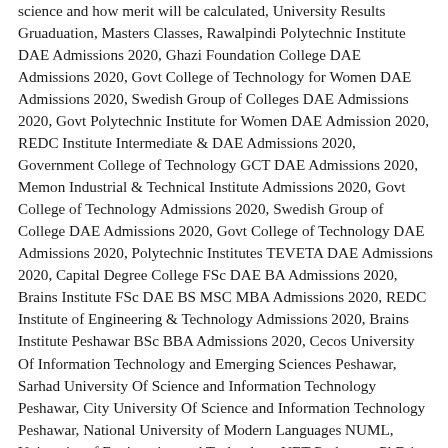science and how merit will be calculated, University Results Gruaduation, Masters Classes, Rawalpindi Polytechnic Institute DAE Admissions 2020, Ghazi Foundation College DAE Admissions 2020, Govt College of Technology for Women DAE Admissions 2020, Swedish Group of Colleges DAE Admissions 2020, Govt Polytechnic Institute for Women DAE Admission 2020, REDC Institute Intermediate & DAE Admissions 2020, Government College of Technology GCT DAE Admissions 2020, Memon Industrial & Technical Institute Admissions 2020, Govt College of Technology Admissions 2020, Swedish Group of College DAE Admissions 2020, Govt College of Technology DAE Admissions 2020, Polytechnic Institutes TEVETA DAE Admissions 2020, Capital Degree College FSc DAE BA Admissions 2020, Brains Institute FSc DAE BS MSC MBA Admissions 2020, REDC Institute of Engineering & Technology Admissions 2020, Brains Institute Peshawar BSc BBA Admissions 2020, Cecos University Of Information Technology and Emerging Sciences Peshawar, Sarhad University Of Science and Information Technology Peshawar, City University Of Science and Information Technology Peshawar, National University of Modern Languages NUML, University of Engineering and Technology UET Peshawar, PhD in Urban Infrastructure Planning and Management, Qurtuba University of Science and Information Technology Peshawar, Fatima Jinnah Women University Rawalpindi, Pir Mehr Ali Shah Arid Agriculture University Rawalpindi, International Islamic